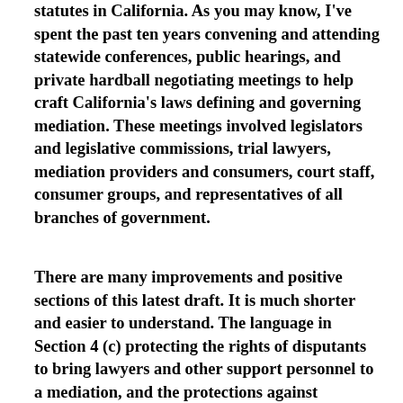statutes in California. As you may know, I've spent the past ten years convening and attending statewide conferences, public hearings, and private hardball negotiating meetings to help craft California's laws defining and governing mediation. These meetings involved legislators and legislative commissions, trial lawyers, mediation providers and consumers, court staff, consumer groups, and representatives of all branches of government.
There are many improvements and positive sections of this latest draft. It is much shorter and easier to understand. The language in Section 4 (c) protecting the rights of disputants to bring lawyers and other support personnel to a mediation, and the protections against mediator coercion in